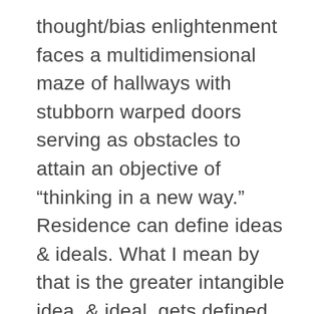thought/bias enlightenment faces a multidimensional maze of hallways with stubborn warped doors serving as obstacles to attain an objective of “thinking in a new way.”  Residence can define ideas & ideals. What I mean by that is the greater intangible idea, & ideal, gets defined more by a where the physically live & who surrounds them at the corner of the bar, the church, the barbeque & the school board meeting. That is a societal closed portal.
Anyway,